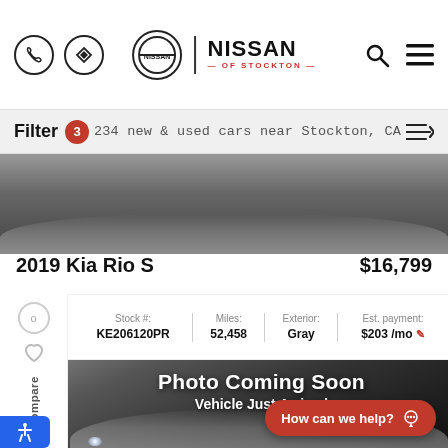Nissan of Stockton — dealership website header with navigation icons
Filter 3 — 234 new & used cars near Stockton, CA
[Figure (photo): Partial car image top — dark gray car photo cropped]
2019 Kia Rio S
$16,799
| Stock # | Miles: | Exterior: | Est. payment: |
| --- | --- | --- | --- |
| KE206120PR | 52,458 | Gray | $203 /mo |
[Figure (photo): Photo Coming Soon — Vehicle Just Arrived placeholder image with partial car silhouette on dark background]
How can we help?